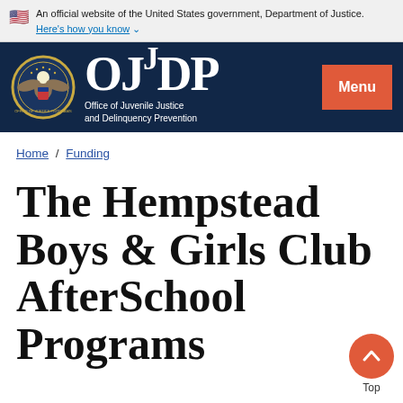An official website of the United States government, Department of Justice. Here's how you know
[Figure (logo): OJJDP - Office of Juvenile Justice and Delinquency Prevention logo with DOJ seal and Menu button]
Home / Funding
The Hempstead Boys & Girls Club AfterSchool Programs